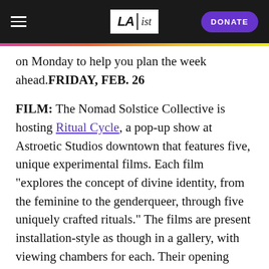LAist — DONATE
on Monday to help you plan the week ahead.FRIDAY, FEB. 26
FILM: The Nomad Solstice Collective is hosting Ritual Cycle, a pop-up show at Astroetic Studios downtown that features five, unique experimental films. Each film "explores the concept of divine identity, from the feminine to the genderqueer, through five uniquely crafted rituals." The films are present installation-style as though in a gallery, with viewing chambers for each. Their opening event takes place on Friday at 7 p.m. and features